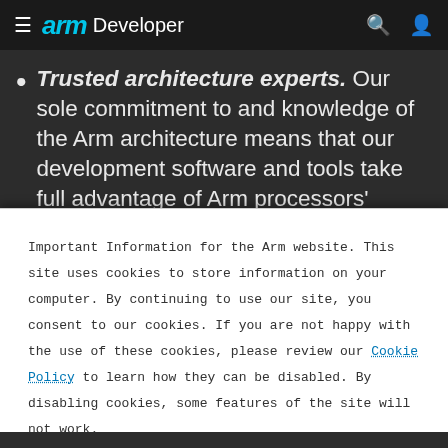arm Developer
Trusted architecture experts. Our sole commitment to and knowledge of the Arm architecture means that our development software and tools take full advantage of Arm processors' capabilities to enable the most efficient products. And our tools are used both
Important Information for the Arm website. This site uses cookies to store information on your computer. By continuing to use our site, you consent to our cookies. If you are not happy with the use of these cookies, please review our Cookie Policy to learn how they can be disabled. By disabling cookies, some features of the site will not work.
Accept and hide this message ✕